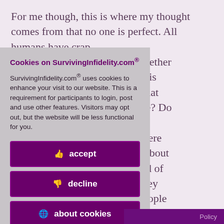For me though, this is where my thought comes from that no one is perfect. All humans have crap d hurt, whether imately it is fections that you blame? Do and try to s if you were humility about re the kind of believe they are not people a lifelong will be. It isn't t I know the
[Figure (screenshot): Cookie consent overlay on SurvivingInfidelity.com with title 'Cookies on SurvivingInfidelity.com®', body text about cookie usage, and three buttons: accept (thumbs up icon), decline (thumbs down icon), about cookies (info icon)]
Policy